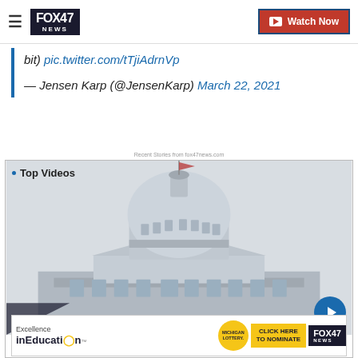FOX 47 NEWS — Watch Now
bit) pic.twitter.com/tTjiAdrnVp
— Jensen Karp (@JensenKarp) March 22, 2021
Recent Stories from fox47news.com
Top Videos
[Figure (photo): Michigan State Capitol building dome against a grey sky]
A n
[Figure (infographic): Excellence in Education advertisement banner with Michigan Lottery logo, CLICK HERE TO NOMINATE button, and FOX 47 NEWS logo]